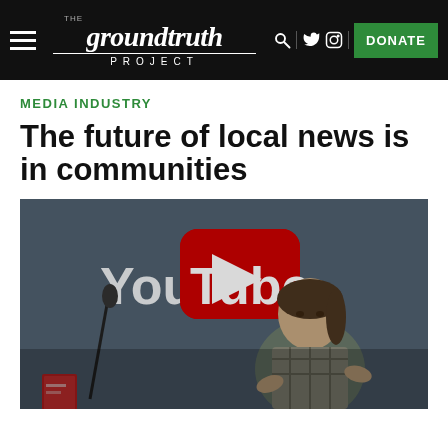THE groundtruth PROJECT | DONATE
MEDIA INDUSTRY
The future of local news is in communities
[Figure (photo): A woman speaking at a podium in front of a large YouTube logo backdrop, with a microphone stand to her left. She is wearing a plaid shirt and gesturing with her hands. A small red book or magazine is visible at the lower left.]